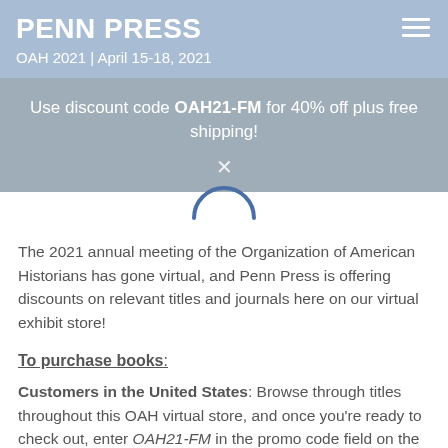PENN PRESS
OAH 2021 | April 15-18, 2021
Use discount code OAH21-FM for 40% off plus free shipping!
The 2021 annual meeting of the Organization of American Historians has gone virtual, and Penn Press is offering discounts on relevant titles and journals here on our virtual exhibit store!
To purchase books:
Customers in the United States: Browse through titles throughout this OAH virtual store, and once you’re ready to check out, enter OAH21-FM in the promo code field on the shopping cart page for 40% off plus free shipping!
Customers in Canada, Latin America, and the Caribbean: